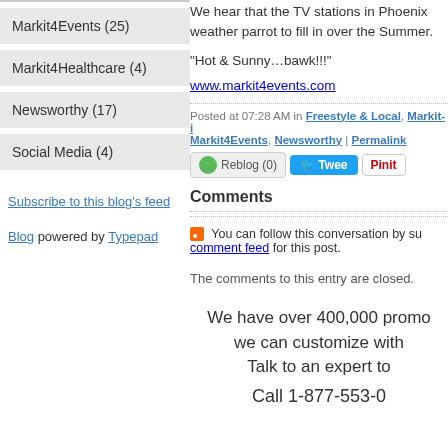Markit4Events (25)
Markit4Healthcare (4)
Newsworthy (17)
Social Media (4)
Subscribe to this blog's feed
Blog powered by Typepad
We hear that the TV stations in Phoenix weather parrot to fill in over the Summer.
“Hot & Sunny…bawk!!!”
www.markit4events.com
Posted at 07:28 AM in Freestyle & Local, Markit-i Markit4Events, Newsworthy | Permalink
Reblog (0) Tweet PinIt
Comments
You can follow this conversation by subscribing to the comment feed for this post.
The comments to this entry are closed.
We have over 400,000 promo we can customize with Talk to an expert to
Call 1-877-553-0